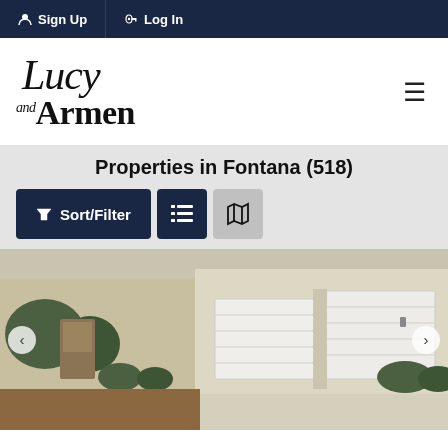Sign Up  Log In
[Figure (logo): Lucy and Armen real estate logo in serif italic and bold script]
Properties in Fontana (518)
[Figure (photo): Exterior photo of a residential home showing multiple white garage doors and landscaped front yard]
$887,000
15578 Iron Spring Lane